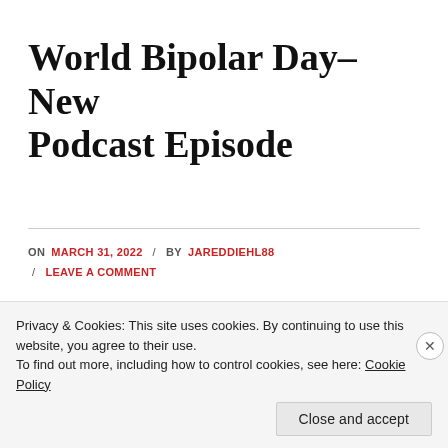World Bipolar Day– New Podcast Episode
ON MARCH 31, 2022 / BY JAREDDIEHL88 / LEAVE A COMMENT
[Figure (screenshot): Spotify podcast embed player with green background and Spotify logo icon]
Privacy & Cookies: This site uses cookies. By continuing to use this website, you agree to their use. To find out more, including how to control cookies, see here: Cookie Policy